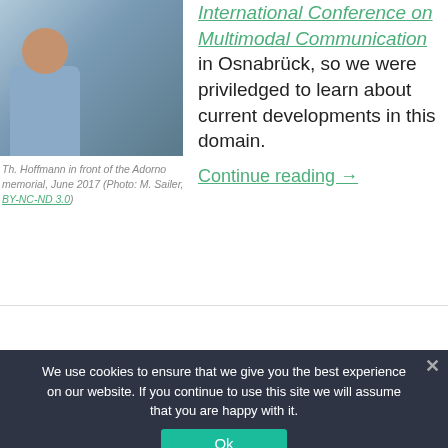[Figure (photo): Photo of Th. Hoffmann standing outdoors in front of the Adorno memorial, wearing a blue short-sleeve shirt and jeans, June 2017]
Th. Hoffmann in front of the Adorno memorial, June 2017 (Photo: M. Sailer, BY-NC-ND 3.0)
International Conference on Multimodal Communication in Osnabrück, so we were priviledged to learn about current developments in this domain.
Continue reading →
We use cookies to ensure that we give you the best experience on our website. If you continue to use this site we will assume that you are happy with it.